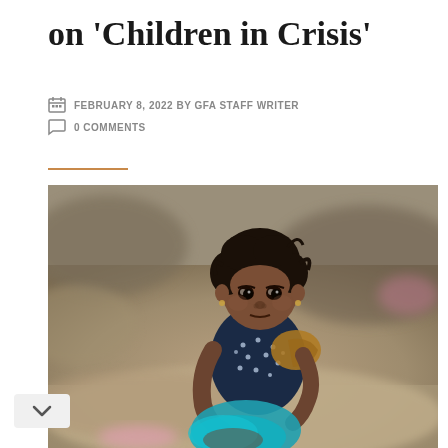on 'Children in Crisis'
FEBRUARY 8, 2022 BY GFA STAFF WRITER
0 COMMENTS
[Figure (photo): A young South Asian child with curly dark hair, wearing a dark navy polka-dot top and holding bright teal/blue fabric, sitting outdoors on sandy/dusty ground, looking directly at the camera with a serious expression. Background is blurred earth tones.]